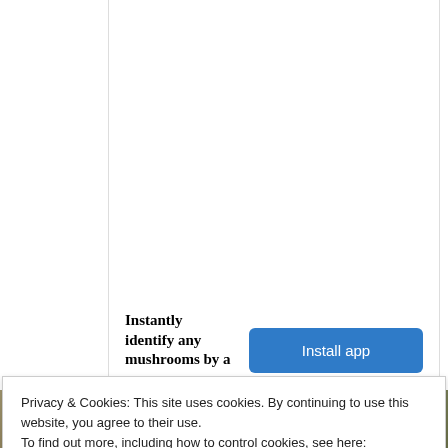Instantly identify any mushrooms by a snap.
[Figure (screenshot): Blue 'Install app' button]
Privacy & Cookies: This site uses cookies. By continuing to use this website, you agree to their use.
To find out more, including how to control cookies, see here: Cookie Policy
Close and accept
[Figure (photo): Bottom strip showing a building facade with trees, partial view]